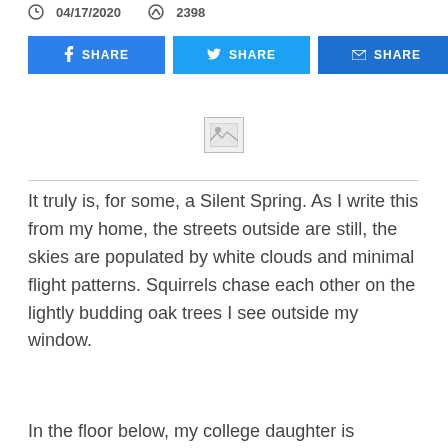04/17/2020   2398
[Figure (infographic): Social share buttons: Facebook SHARE (blue), Twitter SHARE (light blue), Email SHARE (blue), plus button (red-orange)]
[Figure (photo): Broken/missing image placeholder icon]
It truly is, for some, a Silent Spring. As I write this from my home, the streets outside are still, the skies are populated by white clouds and minimal flight patterns. Squirrels chase each other on the lightly budding oak trees I see outside my window.
In the floor below, my college daughter is